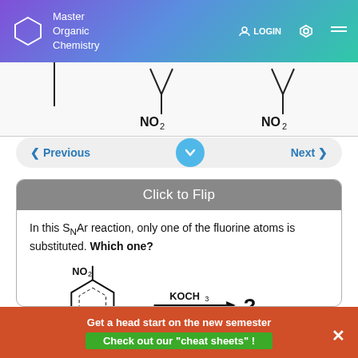Master Organic Chemistry — LOGIN
[Figure (schematic): Partial chemical structures showing two molecules with Y-shaped bonds and NO2 substituents, cropped at top]
< Previous   [down arrow button]   Next >
Click to Flip
In this S_N Ar reaction, only one of the fluorine atoms is substituted. Which one?
[Figure (engineering-diagram): Chemical reaction diagram: aromatic ring with NO2 group and F substituent reacting with KOCH3 to give unknown product (?)]
Get a head start on the new semester
Check out our "cheat sheets" !